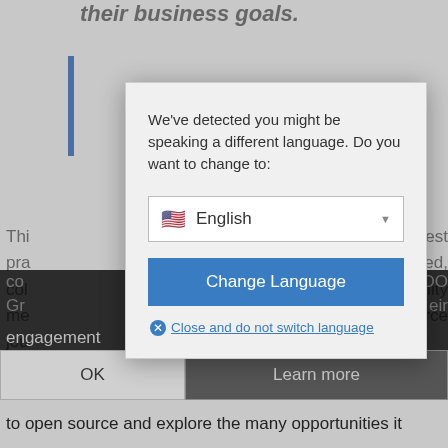their business goals.
This [text partially obscured] est pra [text partially obscured] ed, col [text partially obscured] nity me [text partially obscured] rce jou [text partially obscured]
[Figure (screenshot): Language selection modal dialog with text 'We've detected you might be speaking a different language. Do you want to change to:' and a dropdown showing English with US flag, a blue 'Change Language' button, and a 'Close and do not switch language' link.]
Effe [partially obscured] pen sou [partially obscured] with co [partially obscured] OO Gr [partially obscured] eir engagement [partially obscured] er source ecosystem.
This report helps to address the fears of transitioning
to open source and explore the many opportunities it